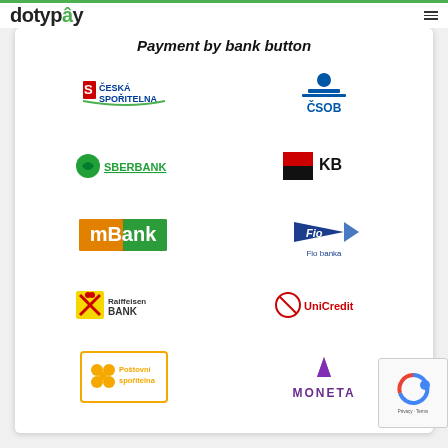dotypay
Payment by bank button
[Figure (logo): Logos of supported banks: Česká spořitelna, ČSOB, Sberbank, KB (Komerční banka), mBank, Fio banka, Raiffeisen Bank, UniCredit, Poštovní spořitelna, MONETA]
[Figure (other): reCAPTCHA widget with Privacy - Terms text]